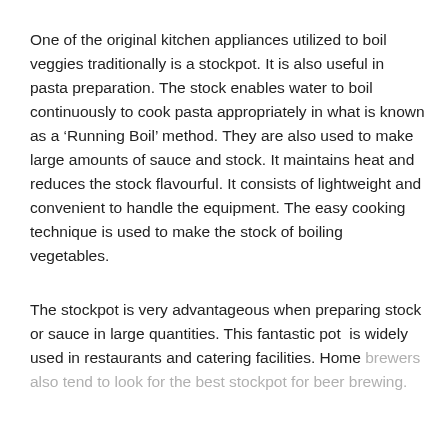One of the original kitchen appliances utilized to boil veggies traditionally is a stockpot. It is also useful in pasta preparation. The stock enables water to boil continuously to cook pasta appropriately in what is known as a ‘Running Boil’ method. They are also used to make large amounts of sauce and stock. It maintains heat and reduces the stock flavourful. It consists of lightweight and convenient to handle the equipment. The easy cooking technique is used to make the stock of boiling vegetables.
The stockpot is very advantageous when preparing stock or sauce in large quantities. This fantastic pot  is widely used in restaurants and catering facilities. Home brewers also tend to look for the best stockpot for beer brewing.